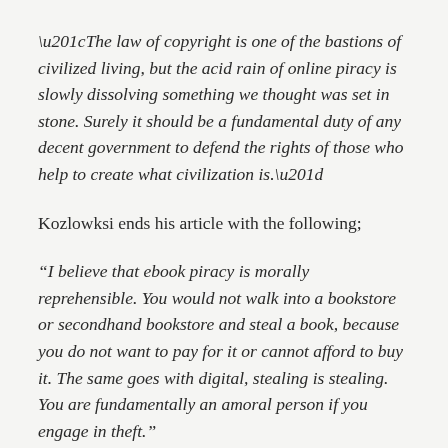“The law of copyright is one of the bastions of civilized living, but the acid rain of online piracy is slowly dissolving something we thought was set in stone. Surely it should be a fundamental duty of any decent government to defend the rights of those who help to create what civilization is.”
Kozlowksi ends his article with the following;
“I believe that ebook piracy is morally reprehensible. You would not walk into a bookstore or secondhand bookstore and steal a book, because you do not want to pay for it or cannot afford to buy it. The same goes with digital, stealing is stealing. You are fundamentally an amoral person if you engage in theft.”